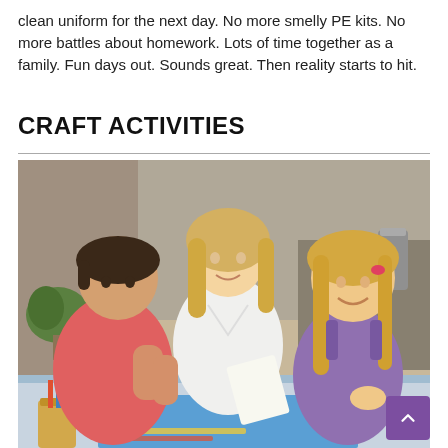clean uniform for the next day. No more smelly PE kits. No more battles about homework. Lots of time together as a family. Fun days out. Sounds great. Then reality starts to hit.
CRAFT ACTIVITIES
[Figure (photo): A woman with blonde hair in a white shirt sits with two children at a table doing craft activities. A boy in a pink polo shirt on the left and a smiling girl in a purple dress on the right. Blue paper and craft supplies are on the table. The setting appears to be a kitchen.]